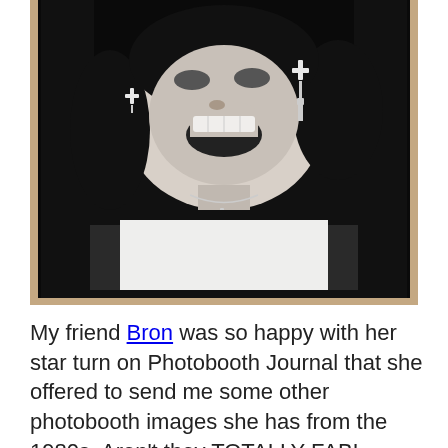[Figure (photo): Black and white photobooth-style photograph printed on canvas or card, showing a young woman with dark hair laughing/smiling broadly, wearing cross earrings and a cross necklace with pendant, dressed in a black top. The photo is mounted against a warm tan/beige background wall.]
My friend Bron was so happy with her star turn on Photobooth Journal that she offered to send me some other photobooth images she has from the 1980s. Aren't they TOTALLY FAB! Continue reading →